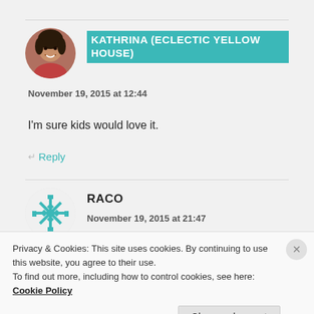[Figure (photo): Circular avatar photo of a woman smiling]
KATHRINA (ECLECTIC YELLOW HOUSE)
November 19, 2015 at 12:44
I'm sure kids would love it.
Reply
[Figure (illustration): Circular avatar with a teal geometric snowflake pattern]
RACO
November 19, 2015 at 21:47
Privacy & Cookies: This site uses cookies. By continuing to use this website, you agree to their use.
To find out more, including how to control cookies, see here: Cookie Policy
Close and accept